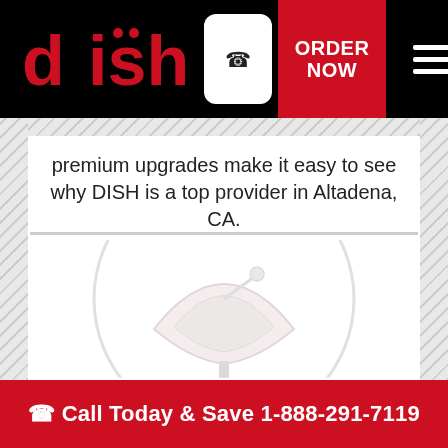[Figure (logo): DISH Network logo in red on black header bar with phone icon, ORDER NOW button, and hamburger menu]
premium upgrades make it easy to see why DISH is a top provider in Altadena, CA.
[Figure (illustration): Placeholder image area with light gray satellite dish watermark/icon on white background]
Call Today & Save 1-888-291-7119